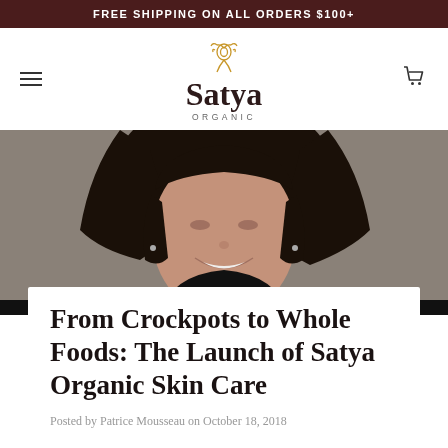FREE SHIPPING ON ALL ORDERS $100+
[Figure (logo): Satya Organic logo with a rose illustration above the word Satya in serif font and ORGANIC in small caps below]
[Figure (photo): Close-up portrait photo of a woman with dark hair, smiling, against a grey background]
From Crockpots to Whole Foods: The Launch of Satya Organic Skin Care
Posted by Patrice Mousseau on October 18, 2018